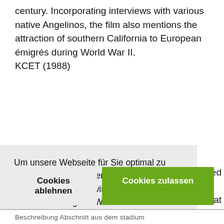century. Incorporating interviews with various native Angelinos, the film also mentions the attraction of southern California to European émigrés during World War II.
KCET (1988)
Um unsere Webseite für Sie optimal zu gestalten und fortlaufend verbessern zu können, verwenden wir Cookies. Durch die weitere Nutzung der Webseite stimmen Sie der Verwendung von Cookies zu. Weitere Informationen zu Cookies erhalten Sie in unserer Datenschutzerklärung
mitted
s at
Cookies ablehnen
Cookies zulassen
Beschreibung Abschnitt aus dem stadium